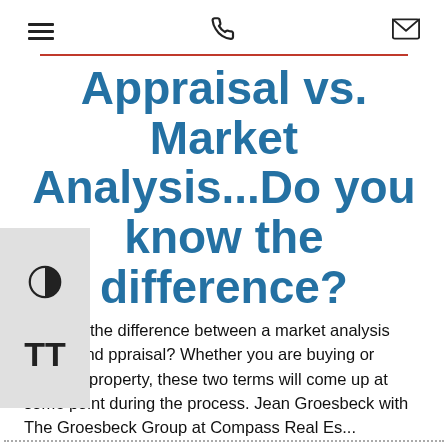[hamburger menu icon] [phone icon] [mail icon]
Appraisal vs. Market Analysis...Do you know the difference?
ou know the difference between a market analysis (CMA) and ppraisal? Whether you are buying or selling a property, these two terms will come up at some point during the process. Jean Groesbeck with The Groesbeck Group at Compass Real Es...
Read more